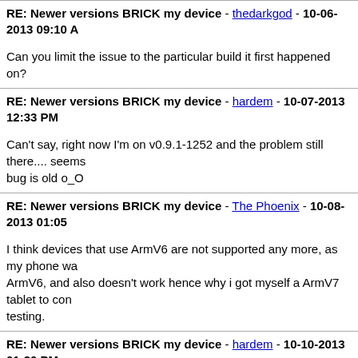RE: Newer versions BRICK my device - thedarkgod - 10-06-2013 09:10 A
Can you limit the issue to the particular build it first happened on?
RE: Newer versions BRICK my device - hardem - 10-07-2013 12:33 PM
Can't say, right now I'm on v0.9.1-1252 and the problem still there.... seems bug is old o_O
RE: Newer versions BRICK my device - The Phoenix - 10-08-2013 01:05
I think devices that use ArmV6 are not supported any more, as my phone wa ArmV6, and also doesn't work hence why i got myself a ArmV7 tablet to con testing.
RE: Newer versions BRICK my device - hardem - 10-10-2013 01:30 PM
So ARMv6 is no longer supported? are you seriously? OMG this is so sad... what was the latest build that worked?
RE: Newer versions BRICK my device - Henrik - 10-10-2013 10:23 PM
Nobody has announced the end of ArmV6 support, it's just that I don't have a such devices to test on.
So you can figure out what the latest version that worked was from S...